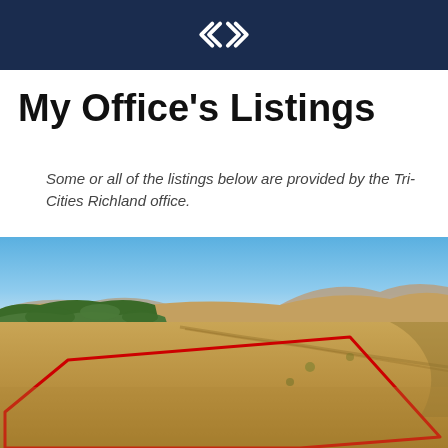[Figure (logo): Real estate company logo — white double-arrow/chevron icon on dark navy background]
My Office's Listings
Some or all of the listings below are provided by the Tri-Cities Richland office.
[Figure (photo): Aerial drone photo of a large undeveloped land parcel in a dry, arid landscape with hills in the background and a red boundary outline marking the property borders. Clear blue sky visible at top.]